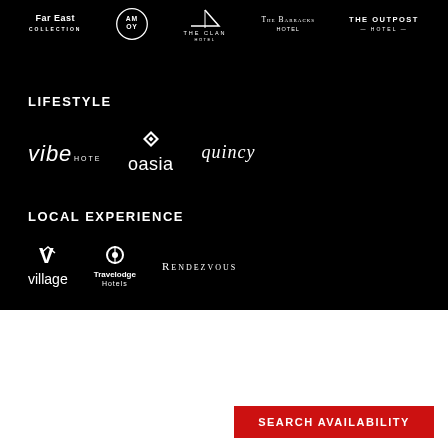[Figure (logo): Far East Collection logo - white text on black]
[Figure (logo): AMOY logo in circle on black]
[Figure (logo): The Clan Hotel logo on black]
[Figure (logo): The Barracks Hotel logo on black]
[Figure (logo): The Outpost Hotel logo on black]
LIFESTYLE
[Figure (logo): Vibe Hotels logo on black]
[Figure (logo): Oasia logo on black]
[Figure (logo): Quincy logo on black]
LOCAL EXPERIENCE
[Figure (logo): Village Hotels logo on black]
[Figure (logo): Travelodge Hotels logo on black]
[Figure (logo): Rendezvous logo on black]
Travelodge Resort Darwin
From 299.00 AUD per night
SEARCH AVAILABILITY